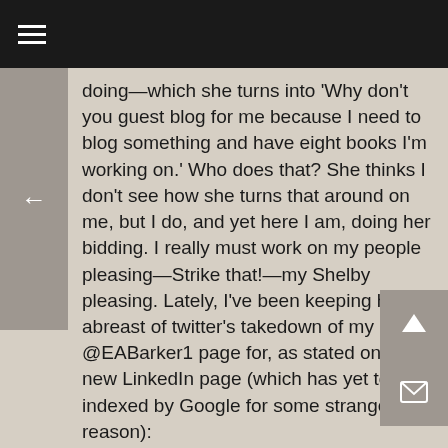≡
doing—which she turns into 'Why don't you guest blog for me because I need to blog something and have eight books I'm working on.' Who does that? She thinks I don't see how she turns that around on me, but I do, and yet here I am, doing her bidding. I really must work on my people pleasing—Strike that!—my Shelby pleasing. Lately, I've been keeping her abreast of twitter's takedown of my @EABarker1 page for, as stated on my new LinkedIn page (which has yet to be indexed by Google for some strange reason):
“It seems you cannot use social media as a soapbox to shout your anti-divisionist; anti-Nazi; anti-racism; anti-patriarchy; anti-status quo; anti-war; anti-dumbing down of public education; anti-mega-corporation; anti-corruption; anti-drug; anti-social media mind control; anti-rise of the phone